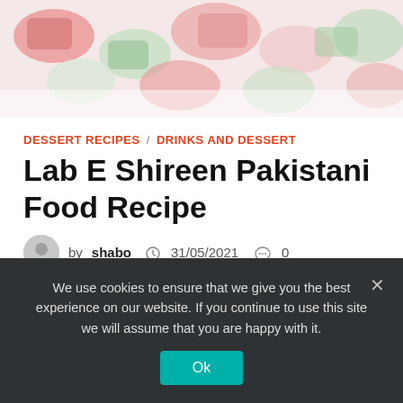[Figure (photo): Food photo showing colorful dessert pieces — red, green, and white jelly or sweet pieces on a light background]
DESSERT RECIPES / DRINKS AND DESSERT
Lab E Shireen Pakistani Food Recipe
by shabo   31/05/2021   0
Hello everyone! Today I am going to share a very delicious and tasty recipe with you. It is Famous in Pakistani because it is very …
We use cookies to ensure that we give you the best experience on our website. If you continue to use this site we will assume that you are happy with it.